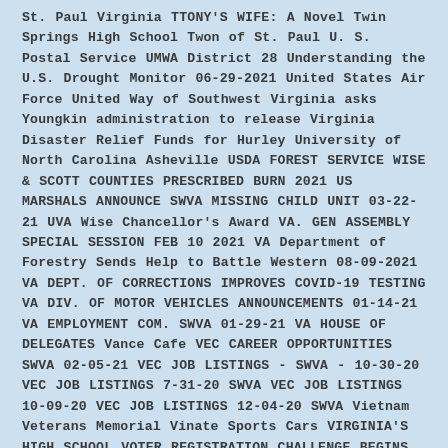St. Paul Virginia TTONY'S WIFE: A Novel Twin Springs High School Twon of St. Paul U. S. Postal Service UMWA District 28 Understanding the U.S. Drought Monitor 06-29-2021 United States Air Force United Way of Southwest Virginia asks Youngkin administration to release Virginia Disaster Relief Funds for Hurley University of North Carolina Asheville USDA FOREST SERVICE WISE & SCOTT COUNTIES PRESCRIBED BURN 2021 US MARSHALS ANNOUNCE SWVA MISSING CHILD UNIT 03-22-21 UVA Wise Chancellor's Award VA. GEN ASSEMBLY SPECIAL SESSION FEB 10 2021 VA Department of Forestry Sends Help to Battle Western 08-09-2021 VA DEPT. OF CORRECTIONS IMPROVES COVID-19 TESTING VA DIV. OF MOTOR VEHICLES ANNOUNCEMENTS 01-14-21 VA EMPLOYMENT COM. SWVA 01-29-21 VA HOUSE OF DELEGATES Vance Cafe VEC CAREER OPPORTUNITIES SWVA 02-05-21 VEC JOB LISTINGS - SWVA - 10-30-20 VEC JOB LISTINGS 7-31-20 SWVA VEC JOB LISTINGS 10-09-20 VEC JOB LISTINGS 12-04-20 SWVA Vietnam Veterans Memorial Vinate Sports Cars VIRGINIA'S HIGH SCHOOL VOTER REGISTRATION CHALLENGE BEGINS 09-28-2021 Virginia ABC Store VIRGINIA ABC STORES RETURN TO PRE-PANDEMIC HOURS 05-14-2021 Virginia ABC Stores to Relax COVID-19 Mitigation Measures May 28 2021 Virginia City VA Virginia Craft Beer Virginia Delegates Pass HB-2206 Virginia Dental Association Foundation Prepares for July 22-23 Mission of Mercy Dental Clinic in Wise VA Virginia Dept. of Emergency Management 2020 Fiscal Year Grants Virginia Dept. of Game & Inland Fisheries Virginia Dept. of Taxation Virginia DGIF Free Fishing Days September 2019 Virginia Division of Motor Vehicles Virginia DMV Expands Service Center Offerings to Include Both